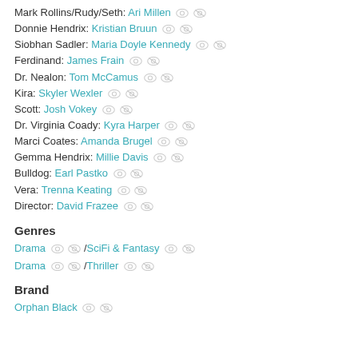Mark Rollins/Rudy/Seth: Ari Millen
Donnie Hendrix: Kristian Bruun
Siobhan Sadler: Maria Doyle Kennedy
Ferdinand: James Frain
Dr. Nealon: Tom McCamus
Kira: Skyler Wexler
Scott: Josh Vokey
Dr. Virginia Coady: Kyra Harper
Marci Coates: Amanda Brugel
Gemma Hendrix: Millie Davis
Bulldog: Earl Pastko
Vera: Trenna Keating
Director: David Frazee
Genres
Drama / SciFi & Fantasy
Drama / Thriller
Brand
Orphan Black